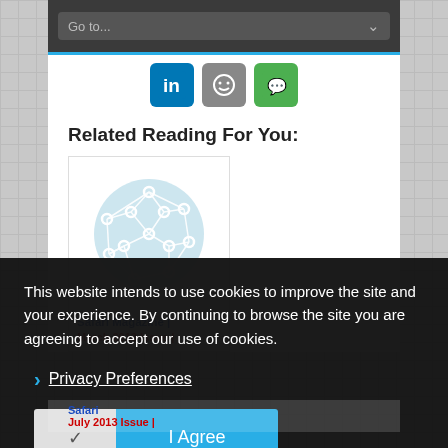[Figure (screenshot): Top navigation bar with 'Go to...' dropdown and social sharing icons (LinkedIn, emoji/smiley, green icon)]
Related Reading For You:
[Figure (illustration): Card with circular network/mesh graph icon on light blue background, titled 'Safari Magazine | March 2013 Issue |']
This website intends to use cookies to improve the site and your experience. By continuing to browse the site you are agreeing to accept our use of cookies.
› Privacy Preferences
[Figure (screenshot): Cookie consent buttons: checkmark button and 'I Agree' button in blue]
Safari | July 2013 Issue |